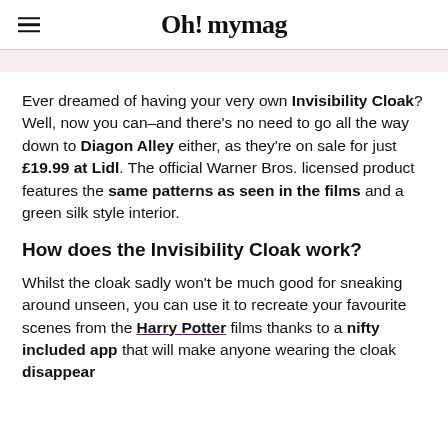Oh! mymag
Ever dreamed of having your very own Invisibility Cloak? Well, now you can–and there's no need to go all the way down to Diagon Alley either, as they're on sale for just £19.99 at Lidl. The official Warner Bros. licensed product features the same patterns as seen in the films and a green silk style interior.
How does the Invisibility Cloak work?
Whilst the cloak sadly won't be much good for sneaking around unseen, you can use it to recreate your favourite scenes from the Harry Potter films thanks to a nifty included app that will make anyone wearing the cloak disappear